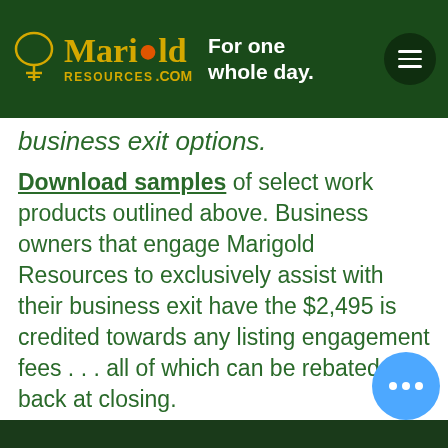Marigold Resources .com — For one whole day.
business exit options.
Download samples of select work products outlined above. Business owners that engage Marigold Resources to exclusively assist with their business exit have the $2,495 is credited towards any listing engagement fees . . . all of which can be rebated back at closing.
*Published pricing for the Strategic Exit Plan Review is $2,500.00.